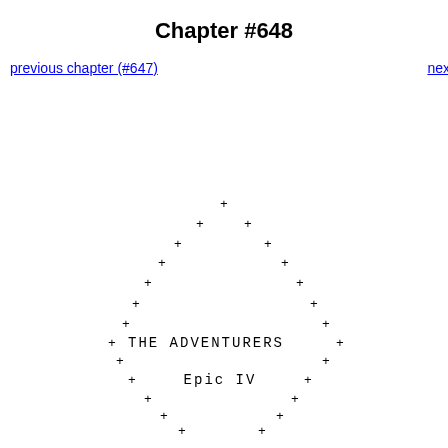Chapter #648
previous chapter (#647)
nex
[Figure (illustration): An oval/elliptical arrangement of plus signs forming a border around centered text reading 'THE ADVENTURERS' and 'Epic IV' in monospace font.]